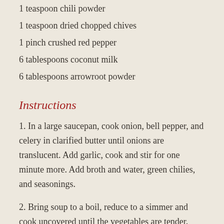1 teaspoon chili powder
1 teaspoon dried chopped chives
1 pinch crushed red pepper
6 tablespoons coconut milk
6 tablespoons arrowroot powder
Instructions
1. In a large saucepan, cook onion, bell pepper, and celery in clarified butter until onions are translucent. Add garlic, cook and stir for one minute more. Add broth and water, green chilies, and seasonings.
2. Bring soup to a boil, reduce to a simmer and cook uncovered until the vegetables are tender. Add chicken and, cook until chicken is heated through.
3. Meanwhile, in a small bowl, whisk together coconut milk and arrowroot powder. Stir mixture into soup to